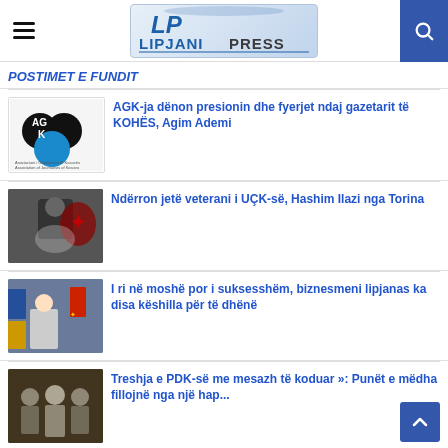Lipjani Press - hamburger menu, logo, search button
POSTIMET E FUNDIT
AGK-ja dënon presionin dhe fyerjet ndaj gazetarit të KOHËS, Agim Ademi
Ndërron jetë veterani i UÇK-së, Hashim Ilazi nga Torina
I ri në moshë por i suksesshëm, biznesmeni lipjanas ka disa këshilla për të dhënë
Treshja e PDK-së me mesazh të koduar »: Punët e mëdha fillojnë nga një hap...